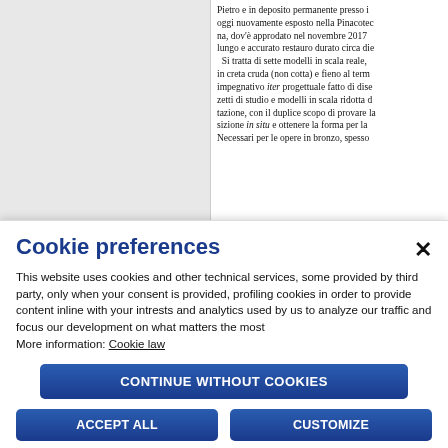Pietro e in deposito permanente presso i oggi nuovamente esposto nella Pinacotec na, dov'è approdato nel novembre 2017 lungo e accurato restauro durato circa die Si tratta di sette modelli in scala reale, in creta cruda (non cotta) e fieno al term impegnativo iter progettuale fatto di dise zetti di studio e modelli in scala ridotta d tazione, con il duplice scopo di provare la sizione in situ e ottenere la forma per la Necessari per le opere in bronzo, spesso
Cookie preferences
This website uses cookies and other technical services, some provided by third party, only when your consent is provided, profiling cookies in order to provide content inline with your intrests and analytics used by us to analyze our traffic and focus our development on what matters the most
More information: Cookie law